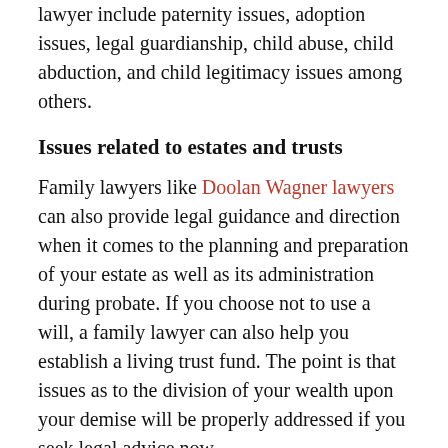lawyer include paternity issues, adoption issues, legal guardianship, child abuse, child abduction, and child legitimacy issues among others.
Issues related to estates and trusts
Family lawyers like Doolan Wagner lawyers can also provide legal guidance and direction when it comes to the planning and preparation of your estate as well as its administration during probate. If you choose not to use a will, a family lawyer can also help you establish a living trust fund. The point is that issues as to the division of your wealth upon your demise will be properly addressed if you seek legal advice now.
There are many issues that plague today’s family that have many legal implications. Before heading to court however, it is often a lot better to sit down and try to settle everything. If that fails, settlement lawyers can always lend a helping hand.